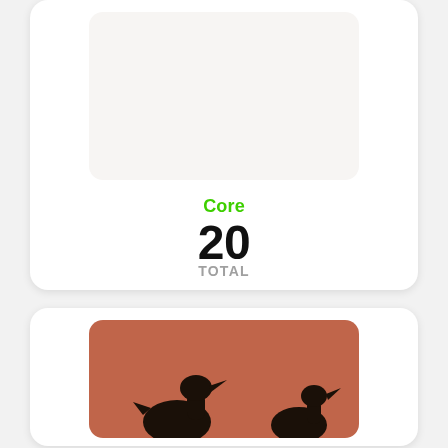[Figure (illustration): Top card with light beige/grey rounded rectangle placeholder image area]
Core
20
TOTAL
[Figure (illustration): Bottom card with terracotta/rust colored rounded rectangle containing dark silhouette animal figures (duck-like shapes) at the bottom]